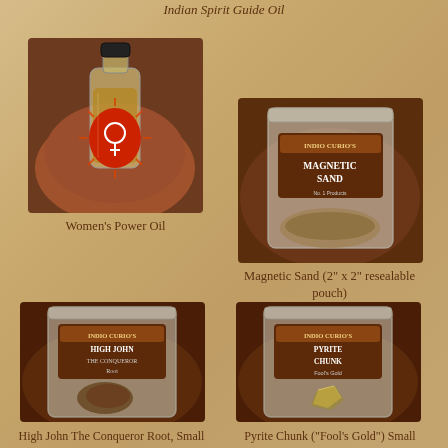Indian Spirit Guide Oil
[Figure (photo): Small glass bottle with a red starburst label featuring a female symbol (Venus/woman symbol), held in a hand]
Women's Power Oil
[Figure (photo): Small resealable plastic pouch labeled 'Indio Curio's Magnetic Sand']
Magnetic Sand (2" x 2" resealable pouch)
[Figure (photo): Small resealable plastic pouch labeled 'Indio Curio's High John The Conqueror Root' with a small root inside]
High John The Conqueror Root, Small
[Figure (photo): Small resealable plastic pouch labeled 'Indio Curio's Pyrite Chunk' with a small piece of pyrite inside]
Pyrite Chunk ("Fool's Gold") Small